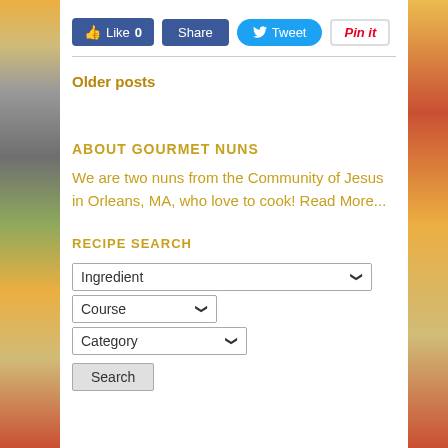[Figure (screenshot): Social sharing buttons: Like 0, Share (Facebook), Tweet (Twitter), Pin it (Pinterest)]
Older posts
ABOUT GOURMET NUNS
We are two nuns from the Community of Jesus in Orleans, MA, who love to cook! Read More...
RECIPE SEARCH
[Figure (screenshot): Recipe search form with Ingredient dropdown, Course dropdown, Category dropdown, and Search button]